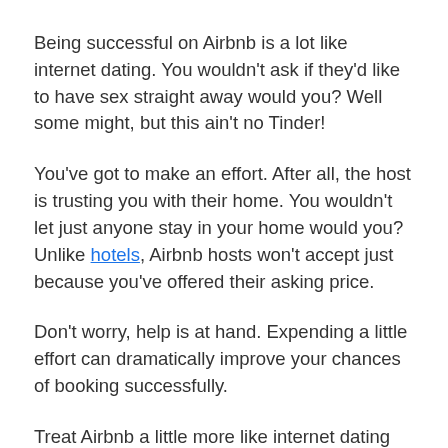Being successful on Airbnb is a lot like internet dating. You wouldn't ask if they'd like to have sex straight away would you? Well some might, but this ain't no Tinder!
You've got to make an effort. After all, the host is trusting you with their home. You wouldn't let just anyone stay in your home would you? Unlike hotels, Airbnb hosts won't accept just because you've offered their asking price.
Don't worry, help is at hand. Expending a little effort can dramatically improve your chances of booking successfully.
Treat Airbnb a little more like internet dating and you'll soon stop receiving disappointing rejection messages and start climbing into their bed, so to speak. Here are my tips for being accepted on Airbnb.